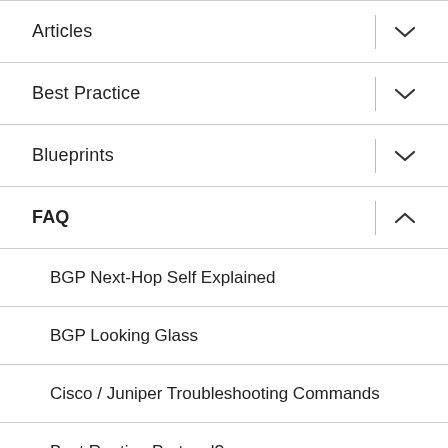Articles
Best Practice
Blueprints
FAQ
BGP Next-Hop Self Explained
BGP Looking Glass
Cisco / Juniper Troubleshooting Commands
Best Routing Protocol?